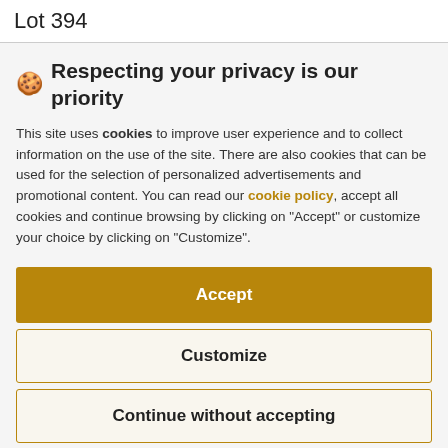Lot 394
🍪 Respecting your privacy is our priority
This site uses cookies to improve user experience and to collect information on the use of the site. There are also cookies that can be used for the selection of personalized advertisements and promotional content. You can read our cookie policy, accept all cookies and continue browsing by clicking on "Accept" or customize your choice by clicking on "Customize".
Accept
Customize
Continue without accepting